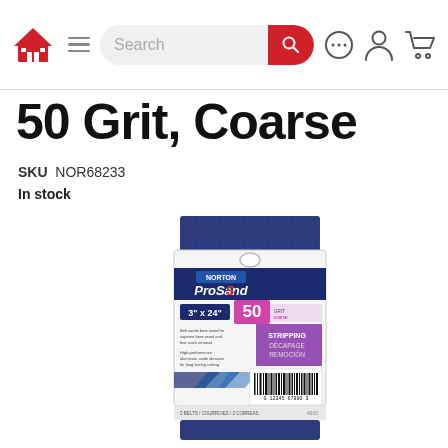Navigation bar with logo, hamburger menu, search, chat, account, and cart icons
50 Grit, Coarse
SKU NOR68233
In stock
[Figure (photo): Norton ProSand 3" x 24" 50 Grit Coarse sanding belt in blue packaging, showing the product label with STRIPPING / DECAPAGE / REMOCION text and a barcode.]